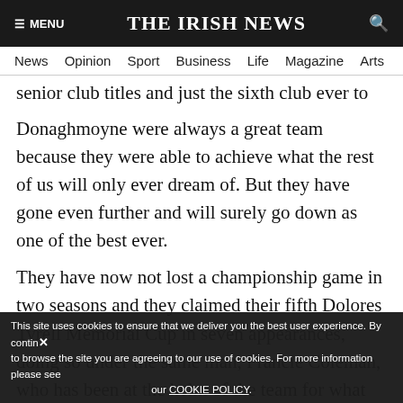≡ MENU  THE IRISH NEWS  🔍
News  Opinion  Sport  Business  Life  Magazine  Arts
senior club titles and just the sixth club ever to do it.
Donaghmoyne were always a great team because they were able to achieve what the rest of us will only ever dream of. But they have gone even further and will surely go down as one of the best ever.
They have now not lost a championship game in two seasons and they claimed their fifth Dolores Tyrell Memorial Cup in seven appearances, doing so under the same man, Francie Coleman, who has been at the helm of the team for what feels like forever.
special to be able to retain their title...
This site uses cookies to ensure that we deliver you the best user experience. By continuing to browse the site you are agreeing to our use of cookies. For more information please see our COOKIE POLICY.